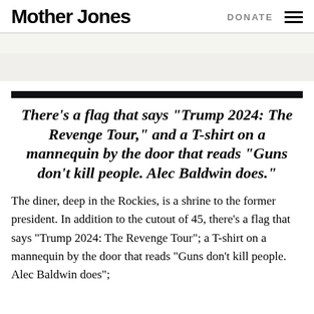Mother Jones  DONATE
There's a flag that says “Trump 2024: The Revenge Tour,” and a T-shirt on a mannequin by the door that reads “Guns don’t kill people. Alec Baldwin does.”
The diner, deep in the Rockies, is a shrine to the former president. In addition to the cutout of 45, there’s a flag that says “Trump 2024: The Revenge Tour”; a T-shirt on a mannequin by the door that reads “Guns don’t kill people. Alec Baldwin does”;